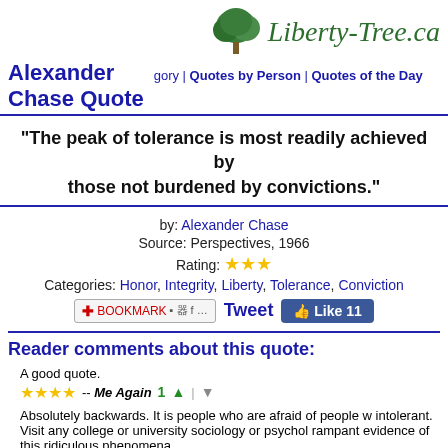Liberty-Tree.ca
Alexander Chase Quote
gory | Quotes by Person | Quotes of the Day
"The peak of tolerance is most readily achieved by those not burdened by convictions."
by: Alexander Chase
Source: Perspectives, 1966
Rating: ★★★
Categories: Honor, Integrity, Liberty, Tolerance, Conviction
Reader comments about this quote:
A good quote.
★★★★ -- Me Again  1
Absolutely backwards. It is people who are afraid of people who are the most intolerant. Visit any college or university sociology or psychology class for rampant evidence of this ridiculous phenomena.
-- Dougmcr8, Springfield, VA  1